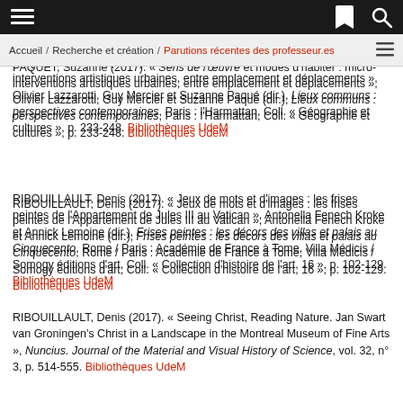Accueil / Recherche et création / Parutions récentes des professeur.es
photographique comme point de passage : les Performances invisibles de Steve Giasson », Sens public. En accès libre
PAQUET, Suzanne (2017). « Sens de l'œuvre et modes d'habiter : micro-interventions artistiques urbaines, entre emplacement et déplacements », Olivier Lazzarotti, Guy Mercier et Suzanne Paquette (dir.), Lieux communs : perspectives contemporaines, Paris : l'Harmattan, Coll. « Géographie et cultures », p. 233-248. Bibliothèques UdeM
RIBOUILLAULT, Denis (2017). « Jeux de mots et d'images : les frises peintes de l'Appartement de Jules III au Vatican », Antonella Fenech Kroke et Annick Lemoine (dir.), Frises peintes : les décors des villas et palais au Cinquecento, Rome / Paris : Académie de France à Tome, Villa Médicis / Somogy éditions d'art, Coll. « Collection d'histoire de l'art, 16 », p. 102-129. Bibliothèques UdeM
RIBOUILLAULT, Denis (2017). « Seeing Christ, Reading Nature. Jan Swart van Groningen's Christ in a Landscape in the Montreal Museum of Fine Arts », Nuncius. Journal of the Material and Visual History of Science, vol. 32, n° 3, p. 514-555. Bibliothèques UdeM
VIGNEAULT, Louise (2017). « Repenser le temps et l'espace, du wampum au selfie », RACAR : Revue d'art canadienne / Canadian Art Review, vol. 42, n° 2. Continuer. Retour au Fond audio...